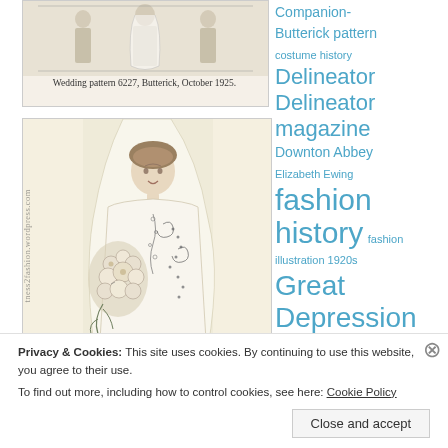[Figure (illustration): Vintage 1920s wedding pattern illustration showing three figures in wedding attire, Butterick pattern 6227]
Wedding pattern 6227, Butterick, October 1925.
[Figure (illustration): 1920s fashion illustration of a bride in a flowing wedding dress with veil, holding a bouquet, with watermark 'tness2fashion.wordpress.com']
Companion-Butterick pattern
costume history
Delineator
Delineator magazine
Downton Abbey
Elizabeth Ewing
fashion history
fashion illustration 1920s
Great Depression
Jeanne Lanvin  JoAnne Olian  Joy Spanabel Emery
Ladies' Home
Privacy & Cookies: This site uses cookies. By continuing to use this website, you agree to their use.
To find out more, including how to control cookies, see here: Cookie Policy
Close and accept